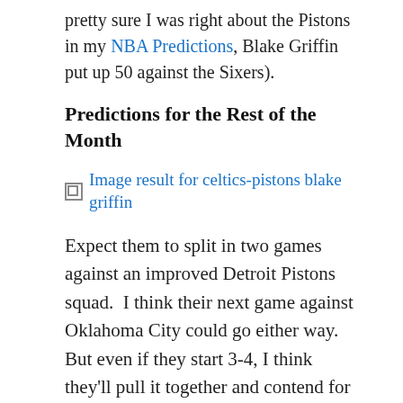pretty sure I was right about the Pistons in my NBA Predictions, Blake Griffin put up 50 against the Sixers).
Predictions for the Rest of the Month
[Figure (other): Broken image placeholder with alt text: Image result for celtics-pistons blake griffin]
Expect them to split in two games against an improved Detroit Pistons squad.  I think their next game against Oklahoma City could go either way.  But even if they start 3-4, I think they'll pull it together and contend for a title in the long run.
NHL: Boston Bruins (with Bruins logo)